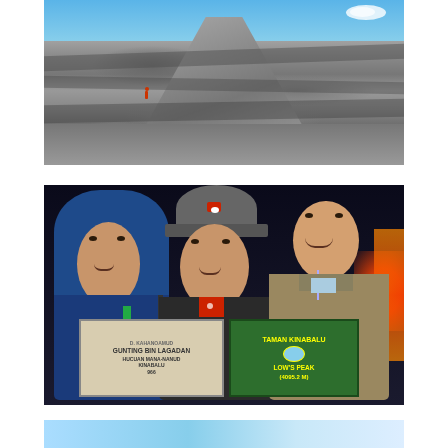[Figure (photo): View of a rocky mountain face with large granite boulders under a blue sky. A tiny figure in red can be seen on the rocks, likely climbing Mount Kinabalu.]
[Figure (photo): Three people posing at night at the summit of Mount Kinabalu (Low's Peak, 4095.2m). They are holding two signs: one reads 'GUNTING BIN LAGADAN / HUCUAN MANA-NANUD / KINABALU / 966' and the other is a green Taman Kinabalu sign reading 'LOW'S PEAK (4095.2 M)'. The people are dressed in cold-weather gear including blue jacket with hood, black jacket with grey hat, and tan jacket.]
[Figure (photo): Partial view of a third photo at the bottom of the page showing what appears to be a bright blue sky scene, possibly another mountain or summit view.]